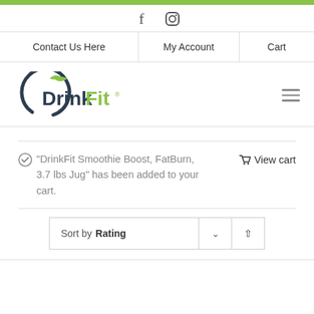Social icons: Facebook, Instagram
Contact Us Here | My Account | Cart
[Figure (logo): DrinkFit logo with green leaf and circular arc]
"DrinkFit Smoothie Boost, FatBurn, 3.7 lbs Jug" has been added to your cart.
View cart
Sort by Rating